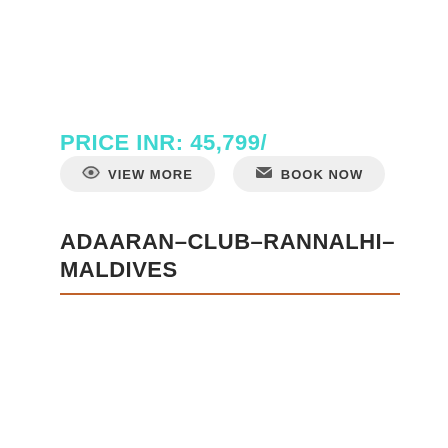PRICE INR: 45,799/
VIEW MORE   BOOK NOW
ADAARAN-CLUB-RANNALHI-MALDIVES